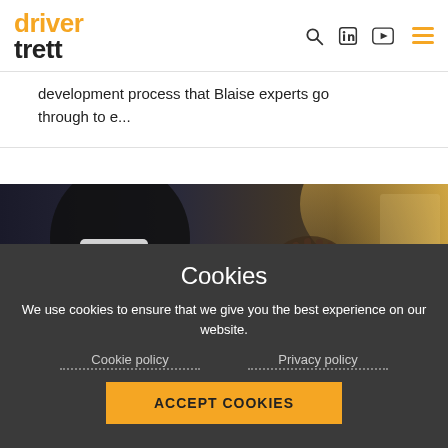driver trett — navigation header with logo, search, LinkedIn, YouTube, and menu icons
development process that Blaise experts go through to e...
[Figure (photo): Person holding a tablet/smartphone, gesturing with other hand, warm backlighting in background]
Cookies
We use cookies to ensure that we give you the best experience on our website.
Cookie policy   Privacy policy
ACCEPT COOKIES